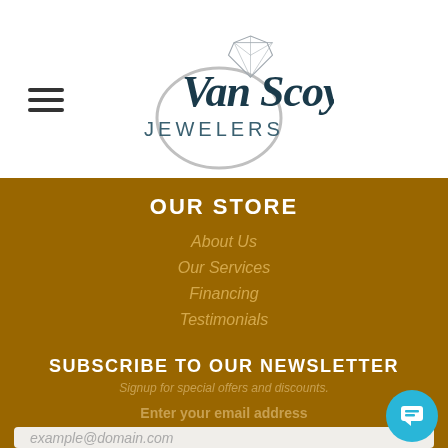[Figure (logo): Van Scoy Jewelers logo with circular grey ring, diamond illustration, and cursive/sans-serif text]
[Figure (illustration): Hamburger menu icon with three horizontal lines]
OUR STORE
About Us
Our Services
Financing
Testimonials
SUBSCRIBE TO OUR NEWSLETTER
Signup for special offers and discounts.
Enter your email address
example@domain.com